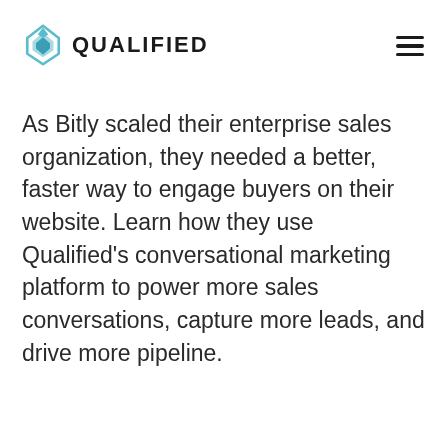QUALIFIED
As Bitly scaled their enterprise sales organization, they needed a better, faster way to engage buyers on their website. Learn how they use Qualified’s conversational marketing platform to power more sales conversations, capture more leads, and drive more pipeline.